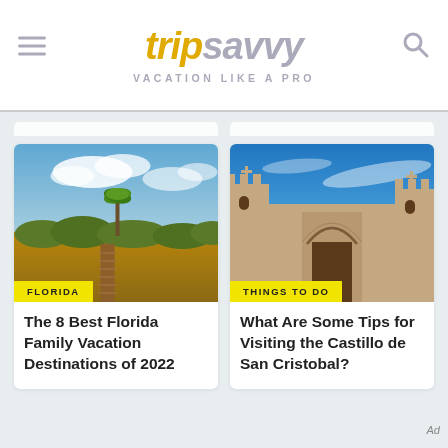tripsavvy — VACATION LIKE A PRO
[Figure (screenshot): TripSavvy website screenshot showing logo, tagline 'VACATION LIKE A PRO', hamburger menu icon, search icon, and two article cards: 'The 8 Best Florida Family Vacation Destinations of 2022' with Florida landscape photo and 'FLORIDA' badge, and 'What Are Some Tips for Visiting the Castillo de San Cristobal?' with castle photo and 'THINGS TO DO' badge.]
The 8 Best Florida Family Vacation Destinations of 2022
What Are Some Tips for Visiting the Castillo de San Cristobal?